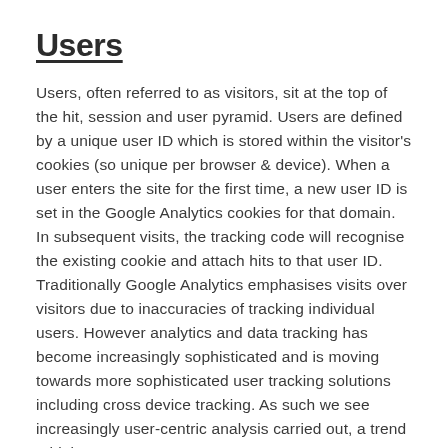Users
Users, often referred to as visitors, sit at the top of the hit, session and user pyramid. Users are defined by a unique user ID which is stored within the visitor's cookies (so unique per browser & device). When a user enters the site for the first time, a new user ID is set in the Google Analytics cookies for that domain. In subsequent visits, the tracking code will recognise the existing cookie and attach hits to that user ID. Traditionally Google Analytics emphasises visits over visitors due to inaccuracies of tracking individual users. However analytics and data tracking has become increasingly sophisticated and is moving towards more sophisticated user tracking solutions including cross device tracking. As such we see increasingly user-centric analysis carried out, a trend I think everyone expects to